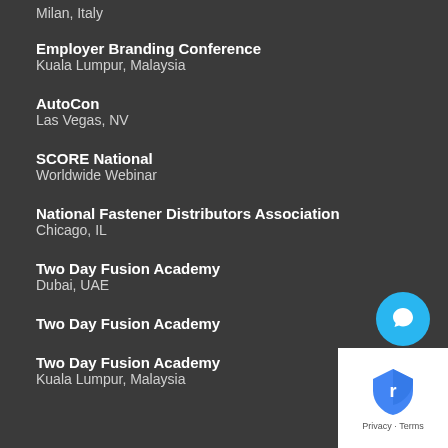Milan, Italy
Employer Branding Conference
Kuala Lumpur, Malaysia
AutoCon
Las Vegas, NV
SCORE National
Worldwide Webinar
National Fastener Distributors Association
Chicago, IL
Two Day Fusion Academy
Dubai, UAE
Two Day Fusion Academy
Two Day Fusion Academy
Kuala Lumpur, Malaysia